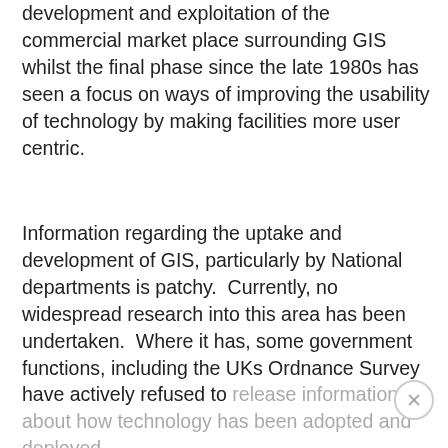development and exploitation of the commercial market place surrounding GIS whilst the final phase since the late 1980s has seen a focus on ways of improving the usability of technology by making facilities more user centric.
Information regarding the uptake and development of GIS, particularly by National departments is patchy.  Currently, no widespread research into this area has been undertaken.  Where it has, some government functions, including the UKs Ordnance Survey have actively refused to release information about how technology has been adopted and deployed.